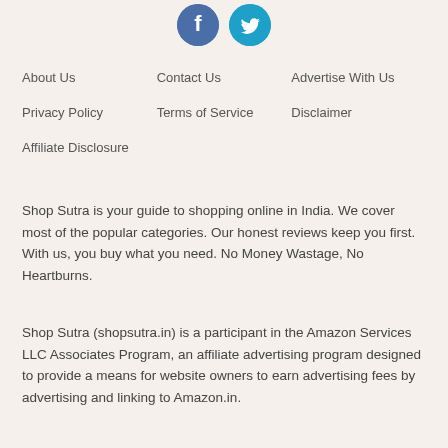[Figure (other): Social media icons: Facebook (blue circle with f) and Twitter (cyan circle with bird)]
About Us
Contact Us
Advertise With Us
Privacy Policy
Terms of Service
Disclaimer
Affiliate Disclosure
Shop Sutra is your guide to shopping online in India. We cover most of the popular categories. Our honest reviews keep you first. With us, you buy what you need. No Money Wastage, No Heartburns.
Shop Sutra (shopsutra.in) is a participant in the Amazon Services LLC Associates Program, an affiliate advertising program designed to provide a means for website owners to earn advertising fees by advertising and linking to Amazon.in.